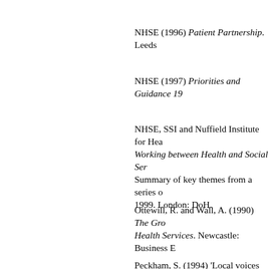NHSE (1996) Patient Partnership. Leeds
NHSE (1997) Priorities and Guidance 19
NHSE, SSI and Nuffield Institute for Hea ... Working between Health and Social Ser ... Summary of key themes from a series o ... 1999. London: DoH.
Ottewill, R. and Wall, A. (1990) The Gro ... Health Services. Newcastle: Business E
Peckham, S. (1994) 'Local voices and p ... 40.
Peckham, S. (1999) 'Primary care purch ... purchasers the way forward?' Pharmaco
Peckham, S., Taylor, P. and Turton, P. (1 ... Primary Care. Birmingham: Public Healt
Pritchard, P. (1994) 'Community involve ... (ed) Community Participation in Primary